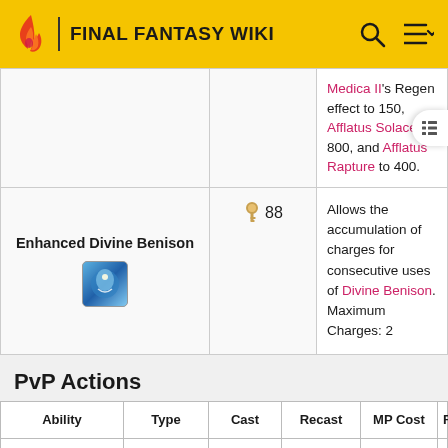FINAL FANTASY WIKI
| Ability | Level | Description |
| --- | --- | --- |
|  |  | Medica II's Regen effect to 150, Afflatus Solace to 800, and Afflatus Rapture to 400. |
| Enhanced Divine Benison | 88 | Allows the accumulation of charges for consecutive uses of Divine Benison. Maximum Charges: 2 |
PvP Actions
| Ability | Type | Cast | Recast | MP Cost | Range |
| --- | --- | --- | --- | --- | --- |
| Glare III | Spell | 1.44s | 2.4s | — | 25y |